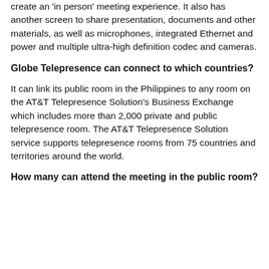create an 'in person' meeting experience. It also has another screen to share presentation, documents and other materials, as well as microphones, integrated Ethernet and power and multiple ultra-high definition codec and cameras.
Globe Telepresence can connect to which countries?
It can link its public room in the Philippines to any room on the AT&T Telepresence Solution's Business Exchange which includes more than 2,000 private and public telepresence room. The AT&T Telepresence Solution service supports telepresence rooms from 75 countries and territories around the world.
How many can attend the meeting in the public room?